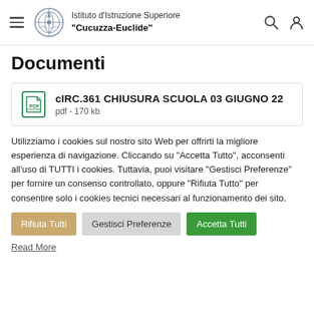Istituto d'Istruzione Superiore "Cucuzza-Euclide"
Documenti
cIRC.361 CHIUSURA SCUOLA 03 GIUGNO 22
pdf - 170 kb
Utilizziamo i cookies sul nostro sito Web per offrirti la migliore esperienza di navigazione. Cliccando su "Accetta Tutto", acconsenti all'uso di TUTTI i cookies. Tuttavia, puoi visitare "Gestisci Preferenze" per fornire un consenso controllato, oppure "Rifiuta Tutto" per consentire solo i cookies tecnici necessari al funzionamento dei sito.
Rifiuta Tutti
Gestisci Preferenze
Accetta Tutti
Read More